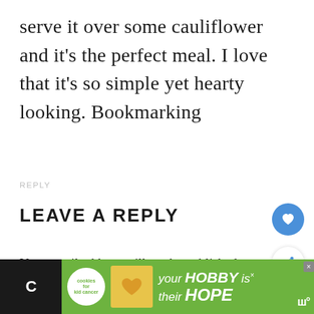serve it over some cauliflower and it's the perfect meal. I love that it's so simple yet hearty looking. Bookmarking
REPLY
LEAVE A REPLY
Your email address will not be published. Required fields are marked *
[Figure (screenshot): Ad banner at bottom: cookies for kid cancer charity ad with 'your HOBBY is their HOPE' text on green background, with cookie/heart image and close button]